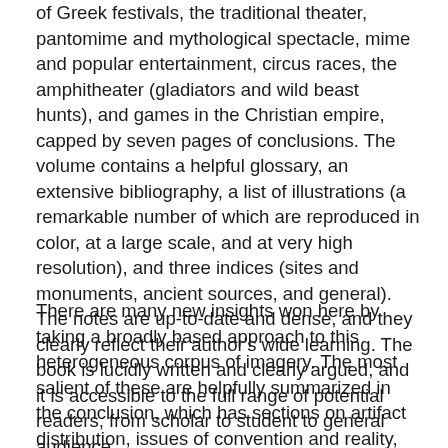of Greek festivals, the traditional theater, pantomime and mythological spectacle, mime and popular entertainment, circus races, the amphitheater (gladiators and wild beast hunts), and games in the Christian empire, capped by seven pages of conclusions. The volume contains a helpful glossary, an extensive bibliography, a list of illustrations (a remarkable number of which are reproduced in color, at a large scale, and at very high resolution), and three indices (sites and monuments, ancient sources, and general). The notes are up-to-date and dense, and they clearly reflect their author's wide learning. The book is lucidly written and clearly argued, and it is accessible to the full range of potential readers, from scholar to student to general audience.
There are many new insights won here by taking a broadly based approach to this heterogeneous corpus of imagery. The most salient of these are helpfully summarized in the conclusion, which has sections on artifact distribution, issues of convention and reality, and the idea of a common culture of spectacle. However, Dunbabin also makes extensive cross-references between chapters and thereby helps the reader